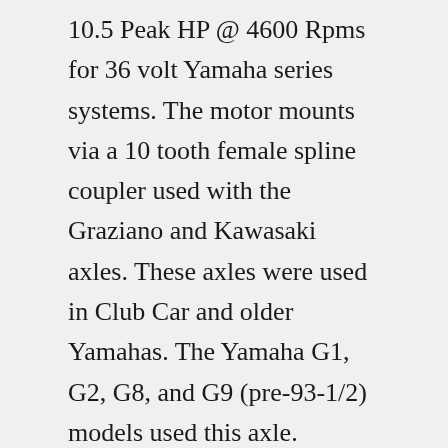10.5 Peak HP @ 4600 Rpms for 36 volt Yamaha series systems. The motor mounts via a 10 tooth female spline coupler used with the Graziano and Kawasaki axles. These axles were used in Club Car and older Yamahas. The Yamaha G1, G2, G8, and G9 (pre-93-1/2) models used this axle. However, this motor isn't neccessarily for ... Yamaha Golf Cart Electric Motor Upgrades - High Speed & Performance G2 G19 G22 G29 Drive.. Used & Rebuilt Parts.. Last